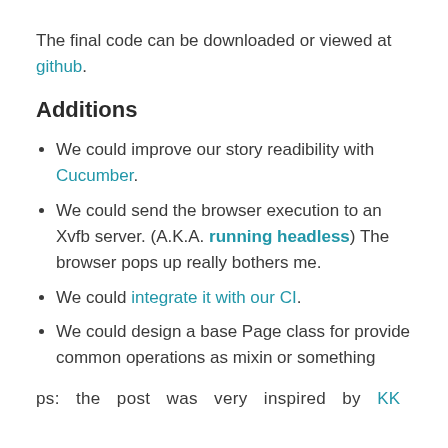The final code can be downloaded or viewed at github.
Additions
We could improve our story readibility with Cucumber.
We could send the browser execution to an Xvfb server. (A.K.A. running headless) The browser pops up really bothers me.
We could integrate it with our CI.
We could design a base Page class for provide common operations as mixin or something
ps: the post was very inspired by KK